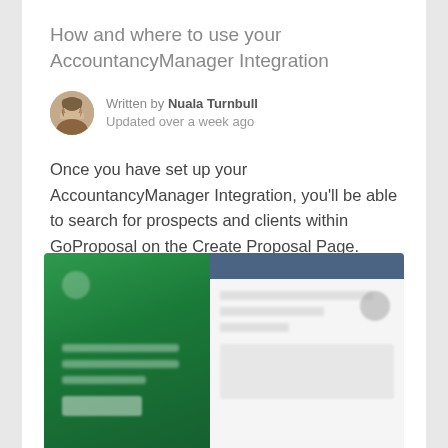How and where to use your AccountancyManager Integration
Written by Nuala Turnbull
Updated over a week ago
Once you have set up your AccountancyManager Integration, you'll be able to search for prospects and clients within GoProposal on the Create Proposal Page.
[Figure (screenshot): Blurred screenshot showing GoProposal interface with a green left panel (AccountancyManager branding) and a white/blue right panel with form fields]